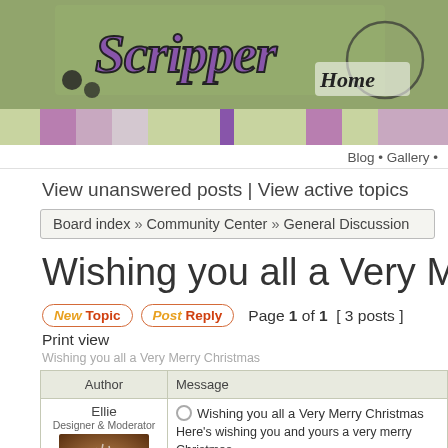[Figure (screenshot): Website banner header with logo text and decorative colored strips]
Blog • Gallery •
View unanswered posts | View active topics
Board index » Community Center » General Discussion
Wishing you all a Very Merry Ch
New Topic  Post Reply  Page 1 of 1  [ 3 posts ]
Print view
Wishing you all a Very Merry Christmas
| Author | Message |
| --- | --- |
| Ellie
Designer & Moderator
[avatar image] | Wishing you all a Very Merry Christmas
Here's wishing you and yours a very merry Christmas.

Ellie |